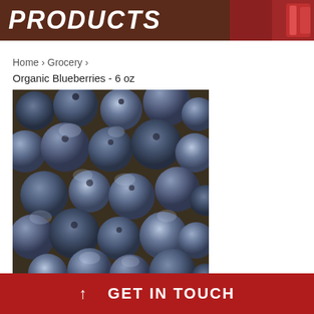PRODUCTS
Home › Grocery › Organic Blueberries - 6 oz
[Figure (photo): Close-up photo of fresh organic blueberries filling the frame, showing the natural dusty blue-grey coating on the berries]
↑ GET IN TOUCH